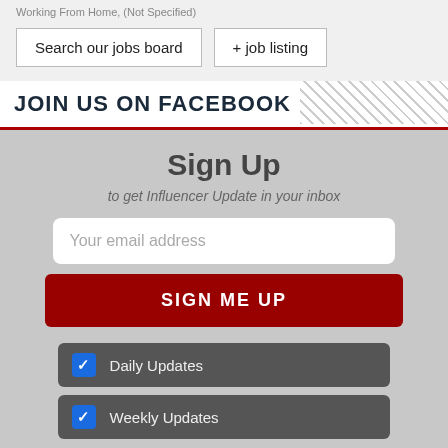Working From Home, (Not Specified)
Search our jobs board
+ job listing
JOIN US ON FACEBOOK
Sign Up
to get Influencer Update in your inbox
Your email address
SIGN ME UP
Daily Updates
Weekly Updates
Your sign up will be strictly used in accordance with our Terms of Use and Privacy Policy